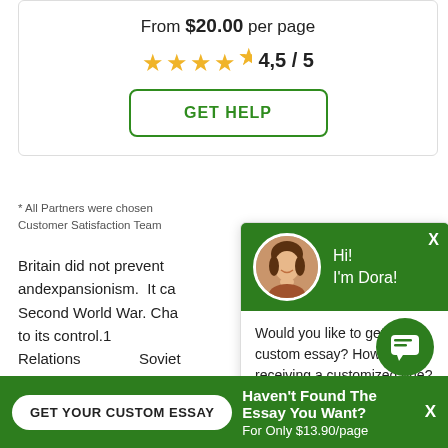From $20.00 per page
4,5 / 5 (stars rating)
GET HELP
* All Partners were chosen ... Customer Satisfaction Team...
Britain did not prevent andexpansionism. It ca Second World War. Cha to its control.1 Relations Soviet relations for Britain du system, communism, b characteristicproperties for Soviet diplomacy.
[Figure (screenshot): Chat popup with green header showing avatar of Dora, greeting 'Hi! I'm Dora!', body text 'Would you like to get a custom essay? How about receiving a customized one?' and 'Click here' link]
Haven't Found The Essay You Want?
GET YOUR CUSTOM ESSAY
For Only $13.90/page